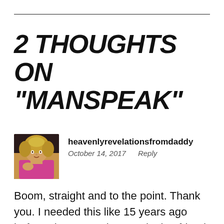2 THOUGHTS ON “MANSPEAK”
[Figure (photo): Small circular/square avatar photo of a woman with curly blonde hair wearing a pink top, seated at a table]
heavenlyrevelationsfromdaddy
October 14, 2017  Reply
Boom, straight and to the point. Thank you. I needed this like 15 years ago before I lost a marriage and a boyfriend!